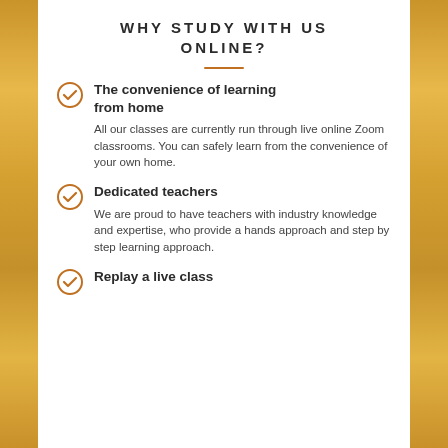WHY STUDY WITH US ONLINE?
The convenience of learning from home
All our classes are currently run through live online Zoom classrooms. You can safely learn from the convenience of your own home.
Dedicated teachers
We are proud to have teachers with industry knowledge and expertise, who provide a hands approach and step by step learning approach.
Replay a live class